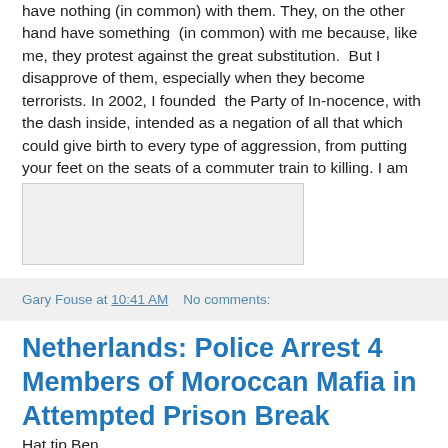have nothing (in common) with them. They, on the other hand have something (in common) with me because, like me, they protest against the great substitution. But I disapprove of them, especially when they become terrorists. In 2002, I founded the Party of Innocence, with the dash inside, intended as a negation of all that which could give birth to every type of aggression, from putting your feet on the seats of a commuter train to killing. I am absolutely non-violent."
[Figure (other): Light grey rectangular image placeholder]
Gary Fouse at 10:41 AM   No comments:
Netherlands: Police Arrest 4 Members of Moroccan Mafia in Attempted Prison Break
Hat tip Ben